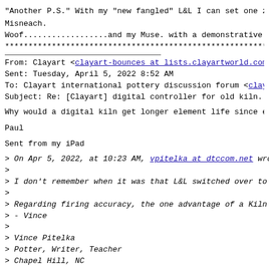"Another P.S." With my "new fangled" L&L I can set one zo
Misneach.
Woof..................and my Muse. with a demonstrative M
************************************************************
From: Clayart <clayart-bounces at lists.clayartworld.com>
Sent: Tuesday, April 5, 2022 8:52 AM
To: Clayart international pottery discussion forum <claya
Subject: Re: [Clayart] digital controller for old kiln. s
Why would a digital kiln get longer element life since el
Paul
Sent from my iPad
> On Apr 5, 2022, at 10:23 AM, vpitelka at dtccom.net wro
>
> I don't remember when it was that L&L switched over to
>
> Regarding firing accuracy, the one advantage of a Kiln
> - Vince
>
> Vince Pitelka
> Potter, Writer, Teacher
> Chapel Hill, NC
> vpitelka at dtccom.net
> www.vincepitelka.com<http://www.vincepitelka.com>